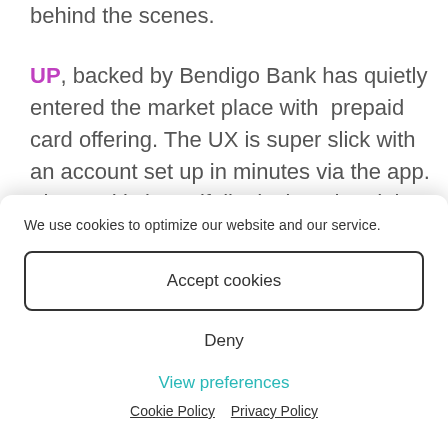behind the scenes.
UP, backed by Bendigo Bank has quietly entered the market place with  prepaid card offering. The UX is super slick with an account set up in minutes via the app. The card is beautifully designed and the app itself let's you track your spending on the card. It is an
We use cookies to optimize our website and our service.
Accept cookies
Deny
View preferences
Cookie Policy   Privacy Policy